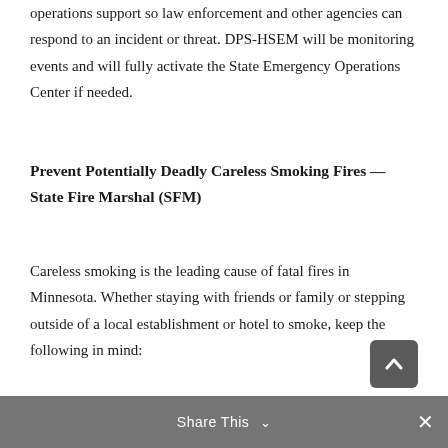operations support so law enforcement and other agencies can respond to an incident or threat. DPS-HSEM will be monitoring events and will fully activate the State Emergency Operations Center if needed.
Prevent Potentially Deadly Careless Smoking Fires — State Fire Marshal (SFM)
Careless smoking is the leading cause of fatal fires in Minnesota. Whether staying with friends or family or stepping outside of a local establishment or hotel to smoke, keep the following in mind:
Only smoke in designated areas.
Dispose of materials in designated containers.
Share This